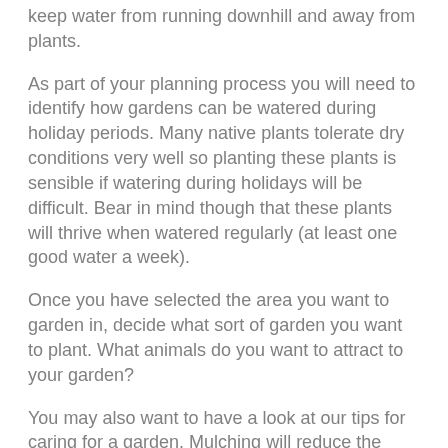keep water from running downhill and away from plants.
As part of your planning process you will need to identify how gardens can be watered during holiday periods. Many native plants tolerate dry conditions very well so planting these plants is sensible if watering during holidays will be difficult. Bear in mind though that these plants will thrive when watered regularly (at least one good water a week).
Once you have selected the area you want to garden in, decide what sort of garden you want to plant. What animals do you want to attract to your garden?
You may also want to have a look at our tips for caring for a garden. Mulching will reduce the need for watering, fertilizers will provide essential nutrients for plants during growth, and...